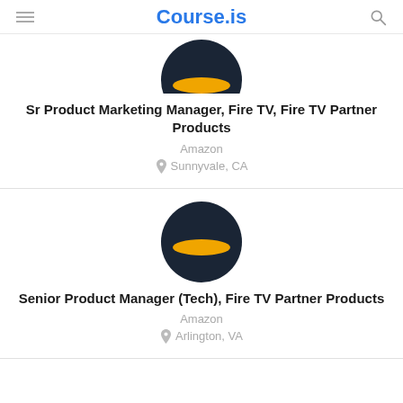Course.is
[Figure (logo): Amazon logo — dark navy circle with orange horizontal band stripe through the middle]
Sr Product Marketing Manager, Fire TV, Fire TV Partner Products
Amazon
Sunnyvale, CA
[Figure (logo): Amazon logo — dark navy circle with orange horizontal band stripe through the middle]
Senior Product Manager (Tech), Fire TV Partner Products
Amazon
Arlington, VA